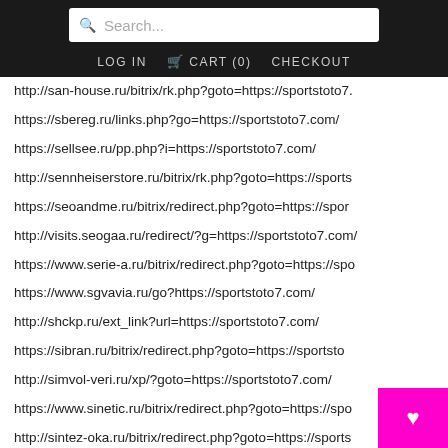Search... | LOG IN  CART (0)  CHECKOUT
http://san-house.ru/bitrix/rk.php?goto=https://sportstoto7.
https://sbereg.ru/links.php?go=https://sportstoto7.com/
https://sellsee.ru/pp.php?i=https://sportstoto7.com/
http://sennheiserstore.ru/bitrix/rk.php?goto=https://sports
https://seoandme.ru/bitrix/redirect.php?goto=https://spor
http://visits.seogaa.ru/redirect/?g=https://sportstoto7.com/
https://www.serie-a.ru/bitrix/redirect.php?goto=https://spo
https://www.sgvavia.ru/go?https://sportstoto7.com/
http://shckp.ru/ext_link?url=https://sportstoto7.com/
https://sibran.ru/bitrix/redirect.php?goto=https://sportsto
http://simvol-veri.ru/xp/?goto=https://sportstoto7.com/
https://www.sinetic.ru/bitrix/redirect.php?goto=https://spo
http://sintez-oka.ru/bitrix/redirect.php?goto=https://sports
https://skamata.ru/bitrix/redirect.php?goto=ht...sto
https://skibaza.ru/bitrix/rk.php?goto=https://sp...co